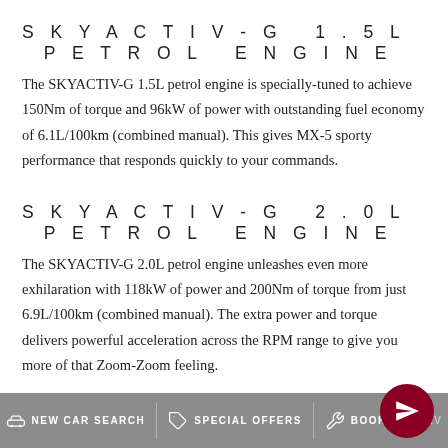SKYACTIV-G 1.5L PETROL ENGINE
The SKYACTIV-G 1.5L petrol engine is specially-tuned to achieve 150Nm of torque and 96kW of power with outstanding fuel economy of 6.1L/100km (combined manual). This gives MX-5 sporty performance that responds quickly to your commands.
SKYACTIV-G 2.0L PETROL ENGINE
The SKYACTIV-G 2.0L petrol engine unleashes even more exhilaration with 118kW of power and 200Nm of torque from just 6.9L/100km (combined manual). The extra power and torque delivers powerful acceleration across the RPM range to give you more of that Zoom-Zoom feeling.
NEW CAR SEARCH   SPECIAL OFFERS   BOOK A SERVICE